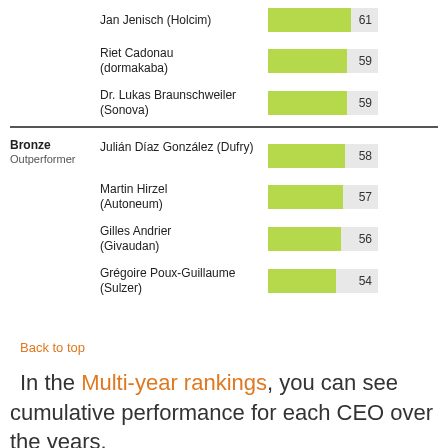[Figure (bar-chart): CEO Rankings - Outperformers]
Back to top
In the Multi-year rankings, you can see cumulative performance for each CEO over the years.